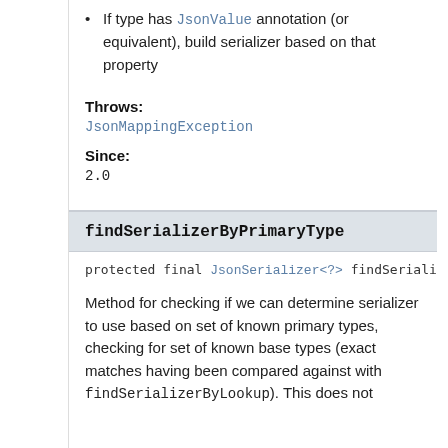If type has JsonValue annotation (or equivalent), build serializer based on that property
Throws:
JsonMappingException
Since:
2.0
findSerializerByPrimaryType
protected final JsonSerializer<?> findSerializerB…
Method for checking if we can determine serializer to use based on set of known primary types, checking for set of known base types (exact matches having been compared against with findSerializerByLookup). This does not